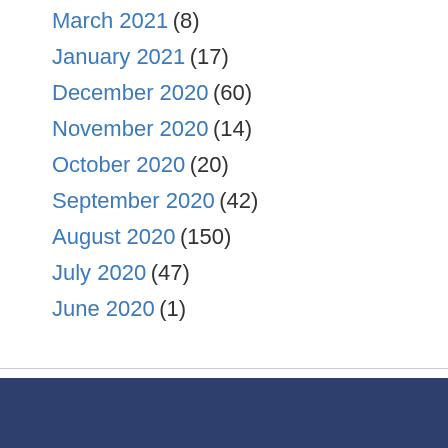March 2021 (8)
January 2021 (17)
December 2020 (60)
November 2020 (14)
October 2020 (20)
September 2020 (42)
August 2020 (150)
July 2020 (47)
June 2020 (1)
About Us